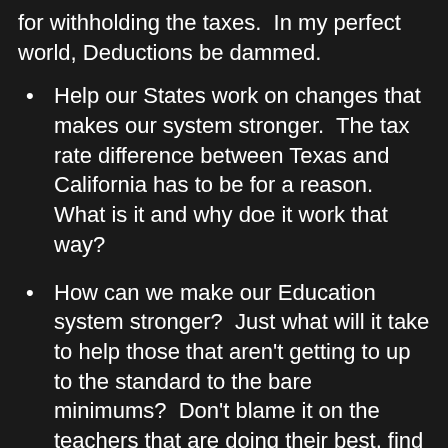for withholding the taxes.  In my perfect world, Deductions be dammed.
Help our States work on changes that makes our system stronger.  The tax rate difference between Texas and California has to be for a reason.  What is it and why doe it work that way?
How can we make our Education system stronger?  Just what will it take to help those that aren't getting to up to the standard to the bare minimums?  Don't blame it on the teachers that are doing their best, find ways to get them the help they need.  If some kids need a student teacher ration of 10:1, don't force the classroom sizes to swell to 30.
Either lower the gasoline taxes or make the States stop earmarking the Fuel Tax revenue